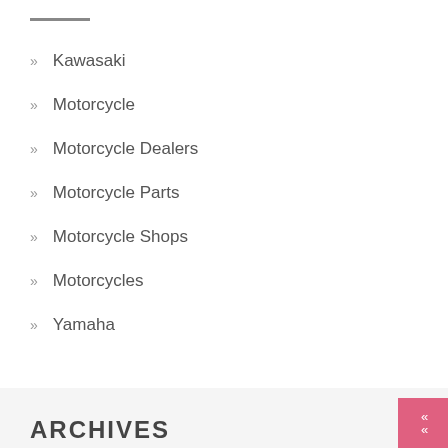Kawasaki
Motorcycle
Motorcycle Dealers
Motorcycle Parts
Motorcycle Shops
Motorcycles
Yamaha
ARCHIVES